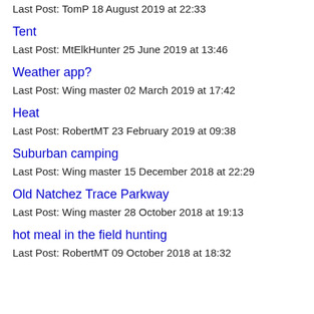Last Post: TomP 18 August 2019 at 22:33
Tent
Last Post: MtElkHunter 25 June 2019 at 13:46
Weather app?
Last Post: Wing master 02 March 2019 at 17:42
Heat
Last Post: RobertMT 23 February 2019 at 09:38
Suburban camping
Last Post: Wing master 15 December 2018 at 22:29
Old Natchez Trace Parkway
Last Post: Wing master 28 October 2018 at 19:13
hot meal in the field hunting
Last Post: RobertMT 09 October 2018 at 18:32